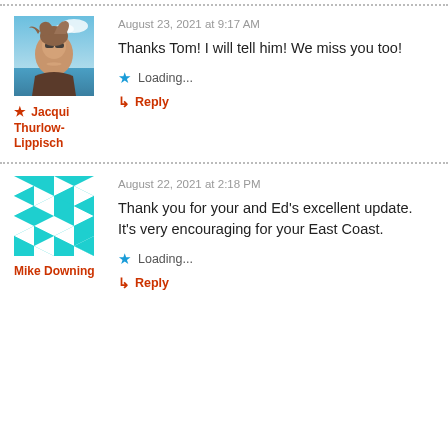[Figure (photo): Profile photo of Jacqui Thurlow-Lippisch, a woman at a beach with wind-blown hair and sunglasses]
★ Jacqui Thurlow-Lippisch
August 23, 2021 at 9:17 AM
Thanks Tom! I will tell him! We miss you too!
Loading...
↳ Reply
[Figure (illustration): Geometric teal and white pattern avatar for Mike Downing]
Mike Downing
August 22, 2021 at 2:18 PM
Thank you for your and Ed's excellent update. It's very encouraging for your East Coast.
Loading...
↳ Reply